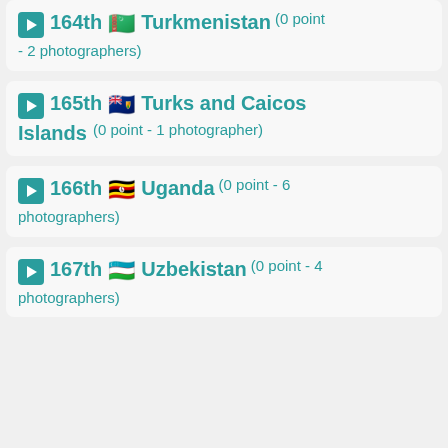164th Turkmenistan (0 point - 2 photographers)
165th Turks and Caicos Islands (0 point - 1 photographer)
166th Uganda (0 point - 6 photographers)
167th Uzbekistan (0 point - 4 photographers)